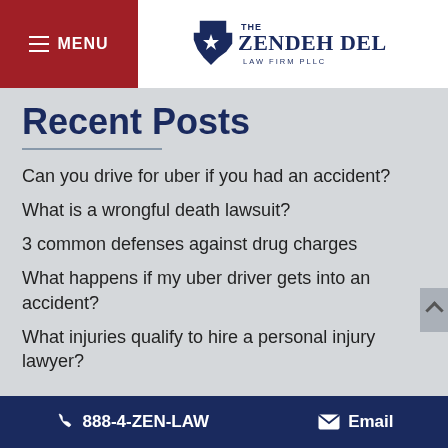MENU | THE ZENDEH DEL LAW FIRM PLLC
Recent Posts
Can you drive for uber if you had an accident?
What is a wrongful death lawsuit?
3 common defenses against drug charges
What happens if my uber driver gets into an accident?
What injuries qualify to hire a personal injury lawyer?
888-4-ZEN-LAW | Email